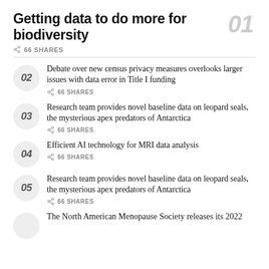Getting data to do more for biodiversity
66 SHARES
02 — Debate over new census privacy measures overlooks larger issues with data error in Title I funding — 66 SHARES
03 — Research team provides novel baseline data on leopard seals, the mysterious apex predators of Antarctica — 66 SHARES
04 — Efficient AI technology for MRI data analysis — 66 SHARES
05 — Research team provides novel baseline data on leopard seals, the mysterious apex predators of Antarctica — 66 SHARES
The North American Menopause Society releases its 2022